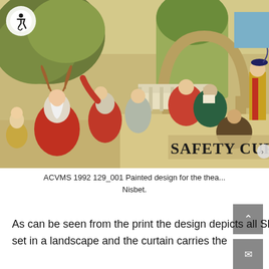[Figure (photo): Painted design for a theatre safety curtain showing Shakespeare's comedy characters in costume, set in a landscape. Multiple figures in colorful Renaissance-era costumes are depicted in an outdoor garden setting. Text 'SAFETY CURTA' visible at bottom right. An accessibility icon (white circle with wheelchair figure) overlays the top left.]
ACVMS 1992 129_001 Painted design for the thea... Nisbet.
As can be seen from the print the design depicts all Shakespeare's comedy characters in costume; they are set in a landscape and the curtain carries the